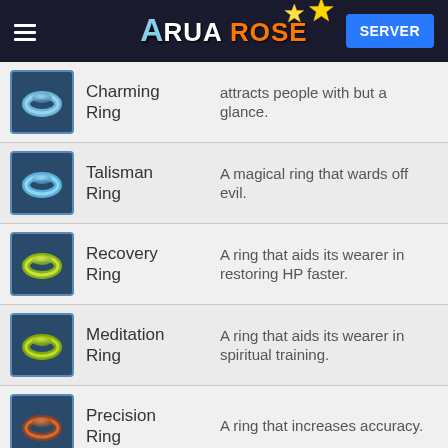Arua Rose - SERVER
Charming Ring - attracts people with but a glance.
Talisman Ring - A magical ring that wards off evil.
Recovery Ring - A ring that aids its wearer in restoring HP faster.
Meditation Ring - A ring that aids its wearer in spiritual training.
Precision Ring - A ring that increases accuracy.
Alluring Ring - A ring that is rumoured to